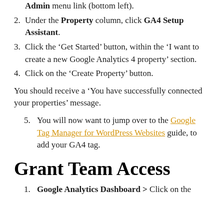Admin menu link (bottom left).
Under the Property column, click GA4 Setup Assistant.
Click the ‘Get Started’ button, within the ‘I want to create a new Google Analytics 4 property’ section.
Click on the ‘Create Property’ button.
You should receive a ‘You have successfully connected your properties’ message.
You will now want to jump over to the Google Tag Manager for WordPress Websites guide, to add your GA4 tag.
Grant Team Access
Google Analytics Dashboard > Click on the